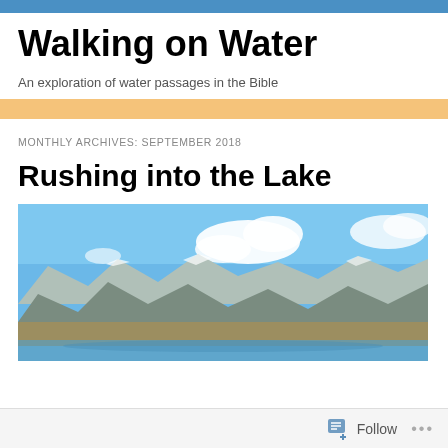Walking on Water
An exploration of water passages in the Bible
MONTHLY ARCHIVES: SEPTEMBER 2018
Rushing into the Lake
[Figure (photo): Landscape photograph showing mountains under a blue sky with white clouds, with a lake or river in the foreground and flat tundra terrain.]
Follow ...